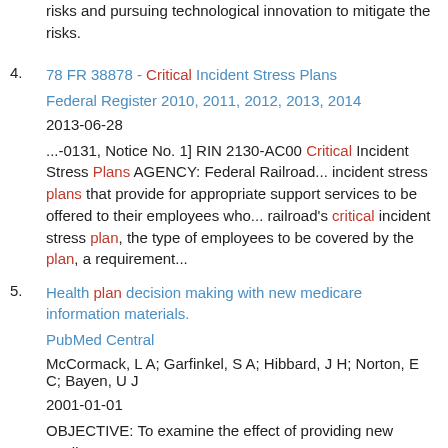risks and pursuing technological innovation to mitigate the risks.
4. 78 FR 38878 - Critical Incident Stress Plans
Federal Register 2010, 2011, 2012, 2013, 2014
2013-06-28
...-0131, Notice No. 1] RIN 2130-AC00 Critical Incident Stress Plans AGENCY: Federal Railroad... incident stress plans that provide for appropriate support services to be offered to their employees who... railroad's critical incident stress plan, the type of employees to be covered by the plan, a requirement...
5. Health plan decision making with new medicare information materials.
PubMed Central
McCormack, L A; Garfinkel, S A; Hibbard, J H; Norton, E C; Bayen, U J
2001-01-01
OBJECTIVE: To examine the effect of providing new Medicare...